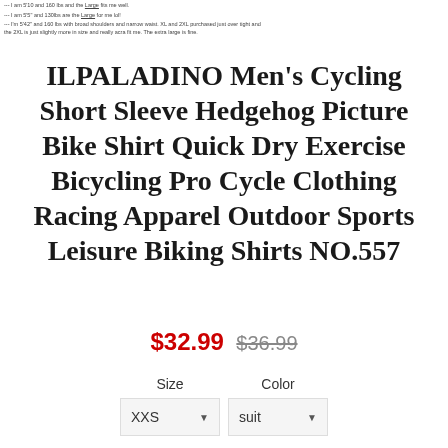...text about sizing and fit notes (partially visible at top of page)
ILPALADINO Men's Cycling Short Sleeve Hedgehog Picture Bike Shirt Quick Dry Exercise Bicycling Pro Cycle Clothing Racing Apparel Outdoor Sports Leisure Biking Shirts NO.557
$32.99  $36.99
Size  Color  XXS ▾  suit ▾